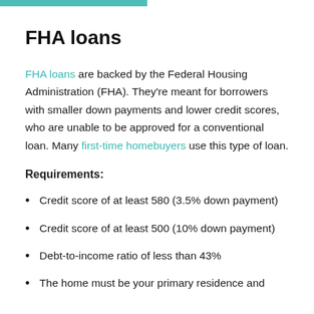FHA loans
FHA loans are backed by the Federal Housing Administration (FHA). They're meant for borrowers with smaller down payments and lower credit scores, who are unable to be approved for a conventional loan. Many first-time homebuyers use this type of loan.
Requirements:
Credit score of at least 580 (3.5% down payment)
Credit score of at least 500 (10% down payment)
Debt-to-income ratio of less than 43%
The home must be your primary residence and